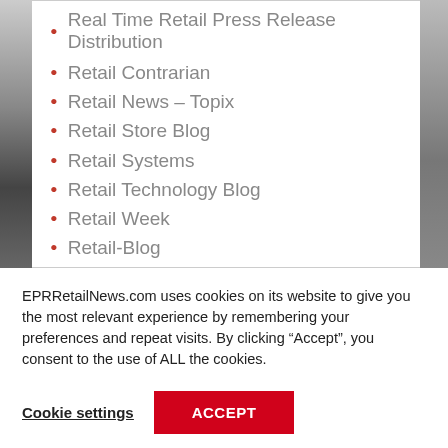Real Time Retail Press Release Distribution
Retail Contrarian
Retail News – Topix
Retail Store Blog
Retail Systems
Retail Technology Blog
Retail Week
Retail-Blog
EPRRetailNews.com uses cookies on its website to give you the most relevant experience by remembering your preferences and repeat visits. By clicking “Accept”, you consent to the use of ALL the cookies.
Cookie settings
ACCEPT